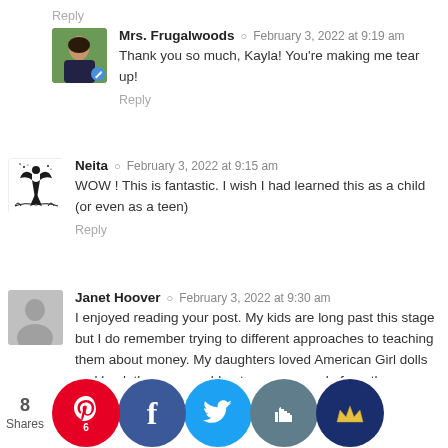Reply
Mrs. Frugalwoods · February 3, 2022 at 9:19 am
Thank you so much, Kayla! You're making me tear up!
Reply
Neita · February 3, 2022 at 9:15 am
WOW ! This is fantastic. I wish I had learned this as a child (or even as a teen)
Reply
Janet Hoover · February 3, 2022 at 9:30 am
I enjoyed reading your post. My kids are long past this stage but I do remember trying to different approaches to teaching them about money. My daughters loved American Girl dolls and back then you could get a paper puzzle from the company where you decided what doll you wanted and then assigned a dollar value to each piece and as they saved they added another piece to the puzzle. When the puzzle was filled they had enough money sa— to purcha— the doll. With a son who was always d— this m— large— le— I ha— ite wh— wa— on an envel— with the money inside, can be good